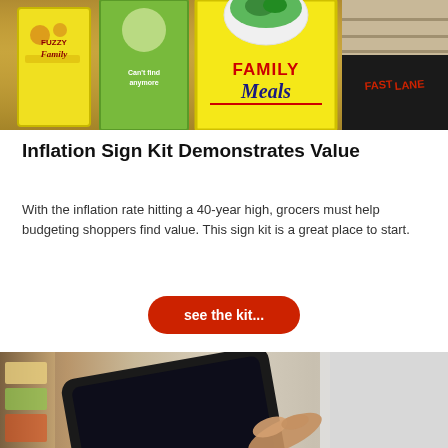[Figure (photo): Grocery store interior showing colorful promotional signs including a yellow-green 'Family Meals' sign and a dark banner, viewed from the aisle]
Inflation Sign Kit Demonstrates Value
With the inflation rate hitting a 40-year high, grocers must help budgeting shoppers find value. This sign kit is a great place to start.
see the kit...
[Figure (photo): Person holding a tablet device in a grocery store aisle, with blurred shelves in the background]